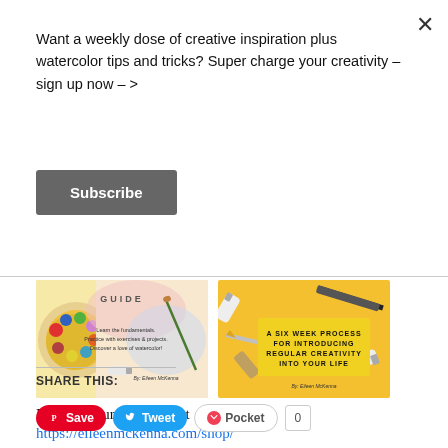Want a weekly dose of creative inspiration plus watercolor tips and tricks? Super charge your creativity – sign up now – >
Subscribe
[Figure (illustration): Two book covers side by side: left cover shows a watercolor guide with paint palette and brushes by Eileen McKenna; right cover shows a yellow book about a six week process for introducing regular creativity into your life by Eileen McKenna.]
Explore your creativity at
https://eileenmckenna.com/shop/
SHARE THIS:
Save  Tweet  Pocket  0